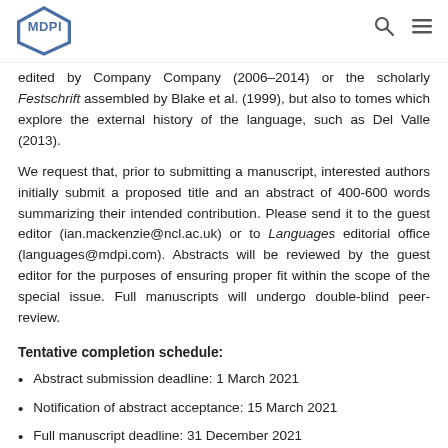MDPI
edited by Company Company (2006–2014) or the scholarly Festschrift assembled by Blake et al. (1999), but also to tomes which explore the external history of the language, such as Del Valle (2013).
We request that, prior to submitting a manuscript, interested authors initially submit a proposed title and an abstract of 400-600 words summarizing their intended contribution. Please send it to the guest editor (ian.mackenzie@ncl.ac.uk) or to Languages editorial office (languages@mdpi.com). Abstracts will be reviewed by the guest editor for the purposes of ensuring proper fit within the scope of the special issue. Full manuscripts will undergo double-blind peer-review.
Tentative completion schedule:
Abstract submission deadline: 1 March 2021
Notification of abstract acceptance: 15 March 2021
Full manuscript deadline: 31 December 2021
References:
Blake, Robert J., Diana L. Ranson and Roger Wright (eds). 1999.